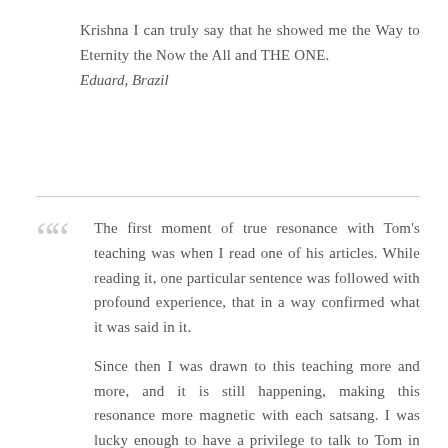Krishna I can truly say that he showed me the Way to Eternity the Now the All and THE ONE. Eduard, Brazil
The first moment of true resonance with Tom's teaching was when I read one of his articles. While reading it, one particular sentence was followed with profound experience, that in a way confirmed what it was said in it.

Since then I was drawn to this teaching more and more, and it is still happening, making this resonance more magnetic with each satsang. I was lucky enough to have a privilege to talk to Tom in Zoom meetings, which was an